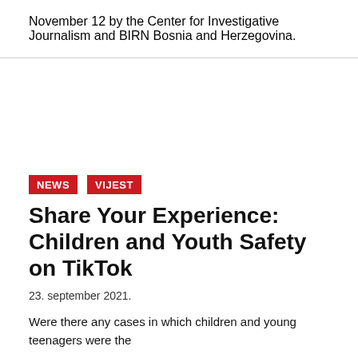November 12 by the Center for Investigative Journalism and BIRN Bosnia and Herzegovina.
NEWS
VIJEST
Share Your Experience: Children and Youth Safety on TikTok
23. september 2021.
Were there any cases in which children and young teenagers were the